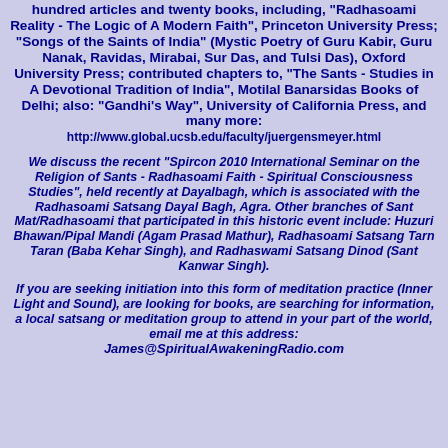hundred articles and twenty books, including, "Radhasoami Reality - The Logic of A Modern Faith", Princeton University Press; "Songs of the Saints of India" (Mystic Poetry of Guru Kabir, Guru Nanak, Ravidas, Mirabai, Sur Das, and Tulsi Das), Oxford University Press; contributed chapters to, "The Sants - Studies in A Devotional Tradition of India", Motilal Banarsidas Books of Delhi; also: "Gandhi's Way", University of California Press, and many more: http://www.global.ucsb.edu/faculty/juergensmeyer.html
We discuss the recent "Spircon 2010 International Seminar on the Religion of Sants - Radhasoami Faith - Spiritual Consciousness Studies", held recently at Dayalbagh, which is associated with the Radhasoami Satsang Dayal Bagh, Agra. Other branches of Sant Mat/Radhasoami that participated in this historic event include: Huzuri Bhawan/Pipal Mandi (Agam Prasad Mathur), Radhasoami Satsang Tarn Taran (Baba Kehar Singh), and Radhaswami Satsang Dinod (Sant Kanwar Singh).
If you are seeking initiation into this form of meditation practice (Inner Light and Sound), are looking for books, are searching for information, a local satsang or meditation group to attend in your part of the world, email me at this address: James@SpiritualAwakeningRadio.com